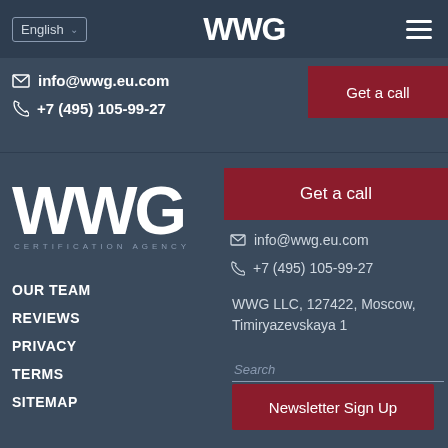English | WWG | menu
info@wwg.eu.com
+7 (495) 105-99-27
[Figure (logo): WWG Get a call button (top right, dark red)]
[Figure (logo): WWG Certification Agency large white logo]
OUR TEAM
REVIEWS
PRIVACY
TERMS
SITEMAP
[Figure (other): Get a call dark red button (right panel)]
info@wwg.eu.com
+7 (495) 105-99-27
WWG LLC, 127422, Moscow, Timiryazevskaya 1
Search
Newsletter Sign Up